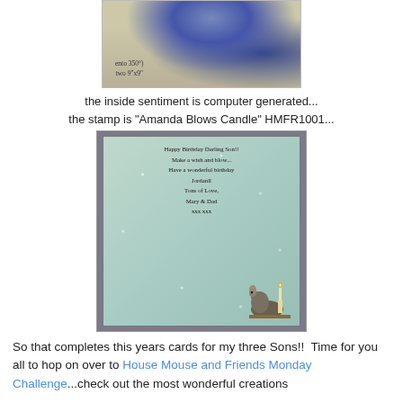[Figure (photo): Close-up photo of a decorated card showing text 'ento 350°) two 9"x9"' with blue and white decorative elements]
the inside sentiment is computer generated...
the stamp is "Amanda Blows Candle" HMFR1001...
[Figure (photo): Photo of a birthday card inside with a mouse blowing a candle illustration and handwritten-style text: 'Happy Birthday Darling Son!! Make a wish and blow... Have a wonderful birthday Jordanll Tons of Love, Mary & Dad xxx xxx']
So that completes this years cards for my three Sons!!  Time for you all to hop on over to House Mouse and Friends Monday Challenge...check out the most wonderful creations